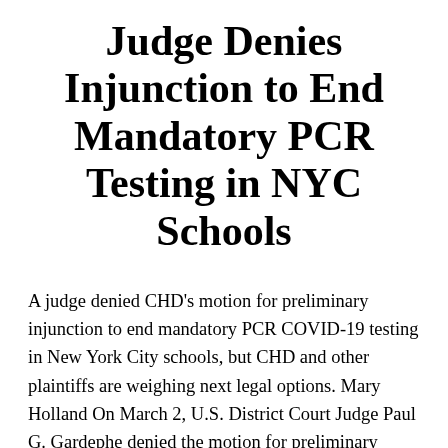Judge Denies Injunction to End Mandatory PCR Testing in NYC Schools
A judge denied CHD's motion for preliminary injunction to end mandatory PCR COVID-19 testing in New York City schools, but CHD and other plaintiffs are weighing next legal options. Mary Holland On March 2, U.S. District Court Judge Paul G. Gardephe denied the motion for preliminary injunction to end mandatory polymerase chain reaction (PCR) COVID-19 testing and to reopen New...